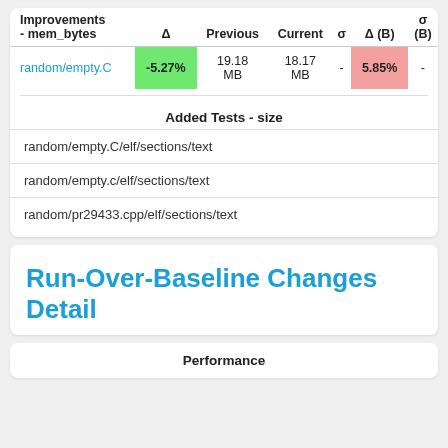| Improvements
- mem_bytes | Δ | Previous | Current | σ | Δ (B) | σ (B) |
| --- | --- | --- | --- | --- | --- | --- |
| random/empty.C | -5.27% | 19.18 MB | 18.17 MB | - | 5.85% | - |
Added Tests - size
random/empty.C/elf/sections/text
random/empty.c/elf/sections/text
random/pr29433.cpp/elf/sections/text
Run-Over-Baseline Changes Detail
Performance